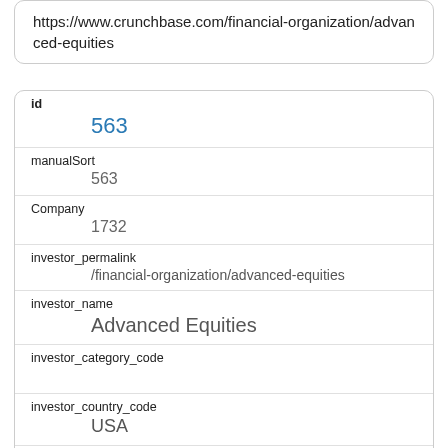https://www.crunchbase.com/financial-organization/advanced-equities
| id | 563 |
| manualSort | 563 |
| Company | 1732 |
| investor_permalink | /financial-organization/advanced-equities |
| investor_name | Advanced Equities |
| investor_category_code |  |
| investor_country_code | USA |
| investor_state_code | IL |
| investor_region | Chicago |